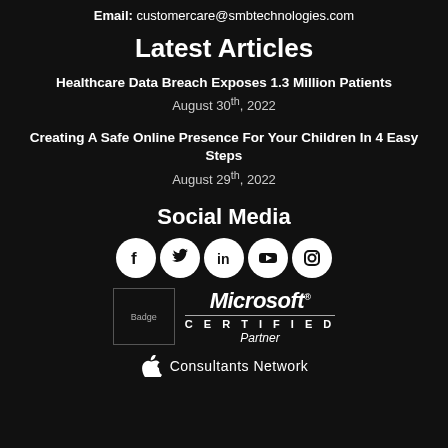Email: customercare@smbtechnologies.com
Latest Articles
Healthcare Data Breach Exposes 1.3 Million Patients
August 30th, 2022
Creating A Safe Online Presence For Your Children In 4 Easy Steps
August 29th, 2022
Social Media
[Figure (other): Social media icons: Facebook, Twitter, LinkedIn, YouTube, Instagram]
[Figure (logo): Microsoft Certified Partner badge and logo]
[Figure (logo): Apple Consultants Network logo with apple icon]